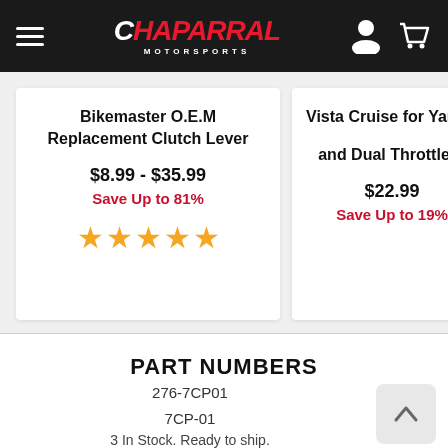Chaparral Motorsports
Bikemaster O.E.M Replacement Clutch Lever
$8.99 - $35.99
Save Up to 81%
★★★★★
Vista Cruise for Yamah... and Dual Throttle C...
$22.99
Save Up to 19%
PART NUMBERS
276-7CP01
7CP-01
3 In Stock. Ready to ship.
3 In Stock.